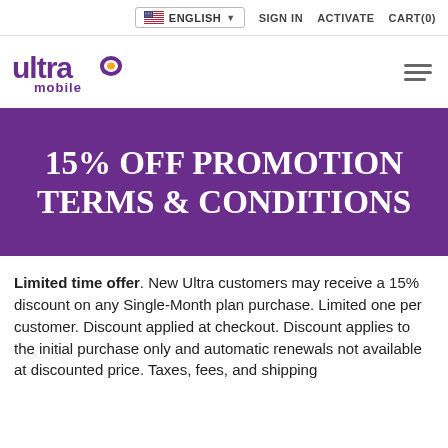ENGLISH  SIGN IN  ACTIVATE  CART(0)
[Figure (logo): Ultra Mobile logo — purple wordmark with speech bubble icon]
15% OFF PROMOTION TERMS & CONDITIONS
Limited time offer. New Ultra customers may receive a 15% discount on any Single-Month plan purchase. Limited one per customer. Discount applied at checkout. Discount applies to the initial purchase only and automatic renewals not available at discounted price. Taxes, fees, and shipping